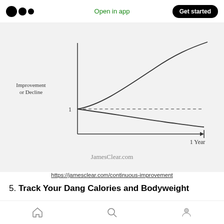Open in app | Get started
[Figure (continuous-plot): A graph showing two curves diverging from a point at y=1 (labeled '1') over time (x-axis labeled '1 Year'). The y-axis is labeled 'Improvement or Decline'. One curve rises steeply (improvement), the other declines gradually (decline). A horizontal dashed line is at y=1. The x-axis has an arrow pointing right. The watermark reads 'JamesClear.com']
https://jamesclear.com/continuous-improvement
5. Track Your Dang Calories and Bodyweight
I wrote an article about progressively overloading and how to apply it to different